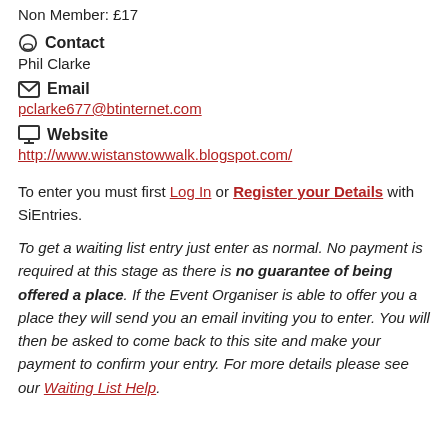Non Member: £17
Contact
Phil Clarke
Email
pclarke677@btinternet.com
Website
http://www.wistanstowwalk.blogspot.com/
To enter you must first Log In or Register your Details with SiEntries.
To get a waiting list entry just enter as normal. No payment is required at this stage as there is no guarantee of being offered a place. If the Event Organiser is able to offer you a place they will send you an email inviting you to enter. You will then be asked to come back to this site and make your payment to confirm your entry. For more details please see our Waiting List Help.